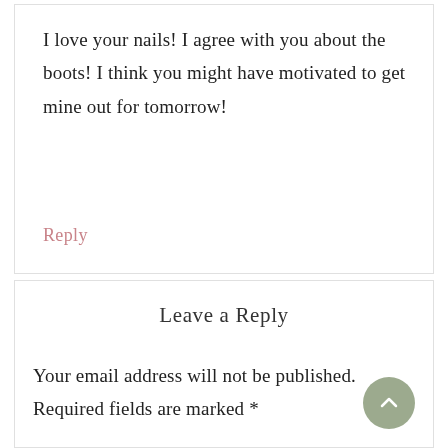I love your nails! I agree with you about the boots! I think you might have motivated to get mine out for tomorrow!
Reply
Leave a Reply
Your email address will not be published. Required fields are marked *